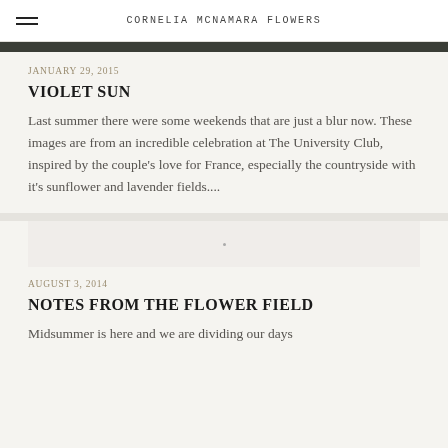CORNELIA MCNAMARA FLOWERS
[Figure (photo): Partial top of a photo visible at the top of the first article block (dark green tones)]
JANUARY 29, 2015
VIOLET SUN
Last summer there were some weekends that are just a blur now. These images are from an incredible celebration at The University Club, inspired by the couple's love for France, especially the countryside with it's sunflower and lavender fields....
[Figure (photo): Small placeholder image area for the second article]
AUGUST 3, 2014
NOTES FROM THE FLOWER FIELD
Midsummer is here and we are dividing our days